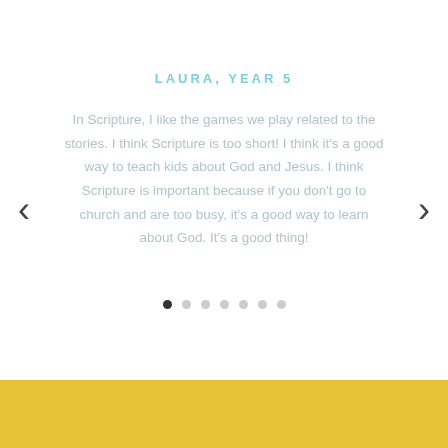LAURA, YEAR 5
In Scripture, I like the games we play related to the stories. I think Scripture is too short! I think it's a good way to teach kids about God and Jesus. I think Scripture is important because if you don't go to church and are too busy, it's a good way to learn about God. It's a good thing!